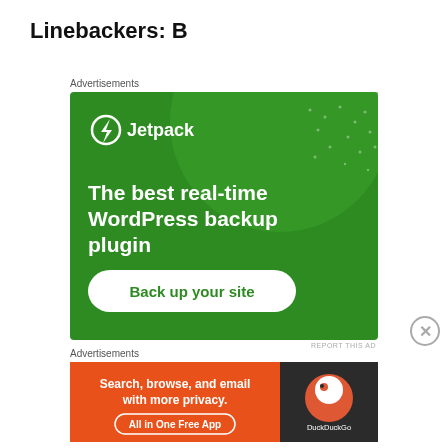Linebackers: B
Advertisements
[Figure (illustration): Jetpack advertisement: green background with large circle shape and dot pattern, Jetpack logo (lightning bolt in circle), text 'The best real-time WordPress backup plugin', white rounded button 'Back up your site']
Advertisements
[Figure (illustration): DuckDuckGo advertisement: orange-red background with text 'Search, browse, and email with more privacy. All in One Free App' and DuckDuckGo duck logo on dark right panel]